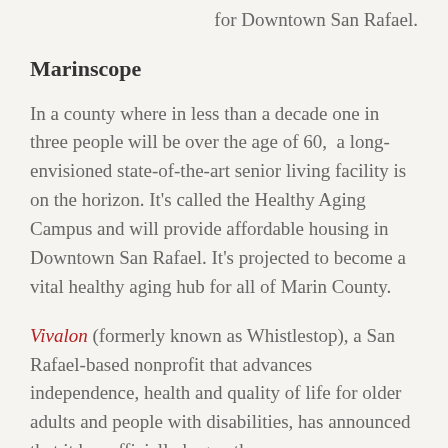for Downtown San Rafael.
Marinscope
In a county where in less than a decade one in three people will be over the age of 60,  a long-envisioned state-of-the-art senior living facility is on the horizon. It's called the Healthy Aging Campus and will provide affordable housing in Downtown San Rafael. It's projected to become a vital healthy aging hub for all of Marin County.
Vivalon (formerly known as Whistlestop), a San Rafael-based nonprofit that advances independence, health and quality of life for older adults and people with disabilities, has announced that it has officially begun the